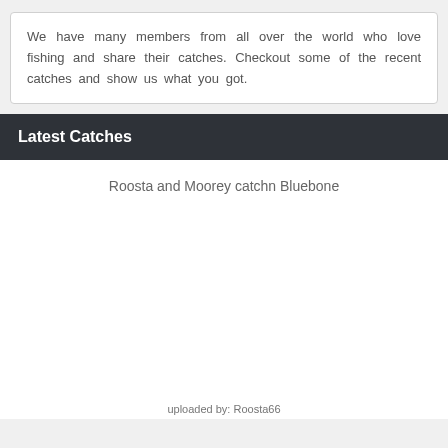We have many members from all over the world who love fishing and share their catches. Checkout some of the recent catches and show us what you got.
Latest Catches
Roosta and Moorey catchn Bluebone
[Figure (photo): Blank/empty image placeholder area for a fishing catch photo]
uploaded by: Roosta66